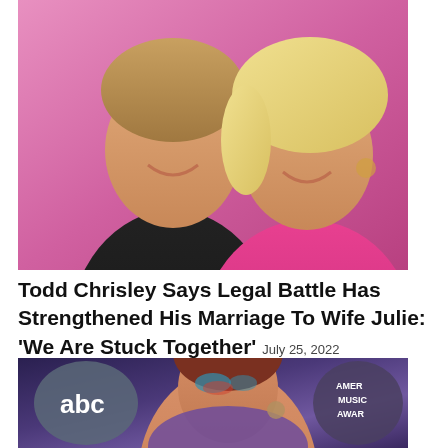[Figure (photo): Photo of Todd Chrisley and wife Julie Chrisley posing together at an event with a pink background. Todd is wearing a black jacket on the left, Julie has blonde hair and is wearing a hot pink outfit on the right.]
Todd Chrisley Says Legal Battle Has Strengthened His Marriage To Wife Julie: 'We Are Stuck Together' July 25, 2022
[Figure (photo): Photo of a woman (Halsey) with dramatic makeup and colorful eye shadow at the American Music Awards, with the ABC logo and American Music Awards logo visible in the background.]